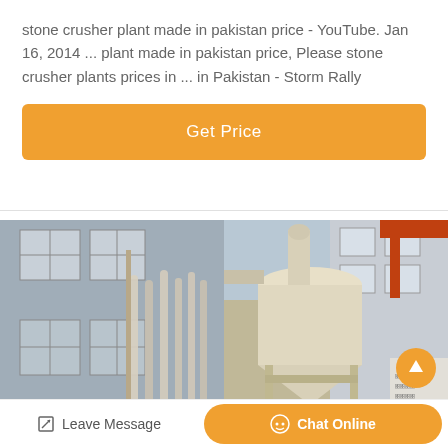stone crusher plant made in pakistan price - YouTube. Jan 16, 2014 ... plant made in pakistan price, Please stone crusher plants prices in ... in Pakistan - Storm Rally
Get Price
[Figure (photo): Industrial machinery photograph split into two halves: left side shows a building exterior with flexible hoses/tubes hanging vertically; right side shows industrial cyclone separator/dust collector equipment with red crane structure visible in background]
Leave Message
Chat Online